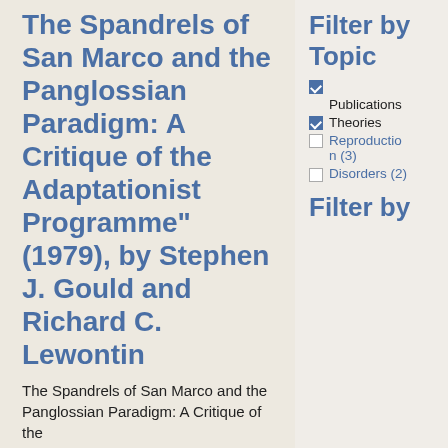The Spandrels of San Marco and the Panglossian Paradigm: A Critique of the Adaptationist Programme" (1979), by Stephen J. Gould and Richard C. Lewontin
The Spandrels of San Marco and the Panglossian Paradigm: A Critique of the
Filter by Topic
Publications (checked)
Theories (checked)
Reproduction (3) (unchecked)
Disorders (2) (unchecked)
Filter by